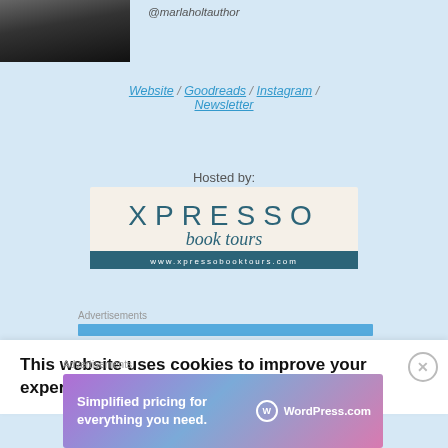[Figure (photo): Partial photo of author with dark hair, cropped at top of page]
@marlaholtauthor
Website / Goodreads / Instagram / Newsletter
Hosted by:
[Figure (logo): Xpresso Book Tours logo with text 'XPRESSO book tours' and 'www.xpressobooktours.com']
Advertisements
This website uses cookies to improve your experience.
Advertisements
[Figure (screenshot): WordPress.com advertisement: 'Simplified pricing for everything you need.' with WordPress.com logo on gradient background]